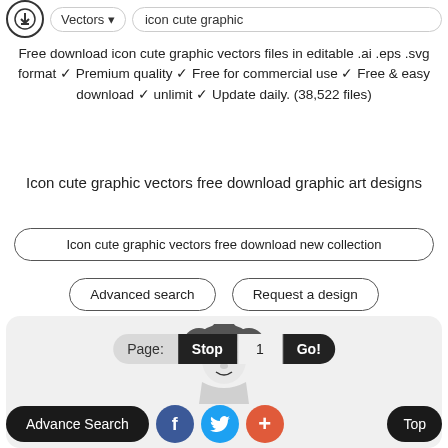[Figure (screenshot): Top navigation bar with download icon, Vectors dropdown, and 'icon cute graphic' search box]
Free download icon cute graphic vectors files in editable .ai .eps .svg format ✓ Premium quality ✓ Free for commercial use ✓ Free & easy download ✓ unlimit ✓ Update daily. (38,522 files)
Icon cute graphic vectors free download graphic art designs
Icon cute graphic vectors free download new collection
Advanced search
Request a design
[Figure (screenshot): Content area with rounded rectangle background showing a cute character illustration, pagination bar with Page: Stop 1 Go! controls]
Page:
Stop
1
Go!
Advance Search
Top